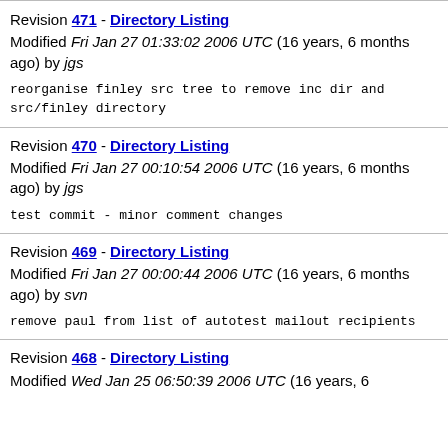Revision 471 - Directory Listing
Modified Fri Jan 27 01:33:02 2006 UTC (16 years, 6 months ago) by jgs

reorganise finley src tree to remove inc dir and src/finley directory
Revision 470 - Directory Listing
Modified Fri Jan 27 00:10:54 2006 UTC (16 years, 6 months ago) by jgs

test commit - minor comment changes
Revision 469 - Directory Listing
Modified Fri Jan 27 00:00:44 2006 UTC (16 years, 6 months ago) by svn

remove paul from list of autotest mailout recipients
Revision 468 - Directory Listing
Modified Wed Jan 25 06:50:39 2006 UTC (16 years, 6